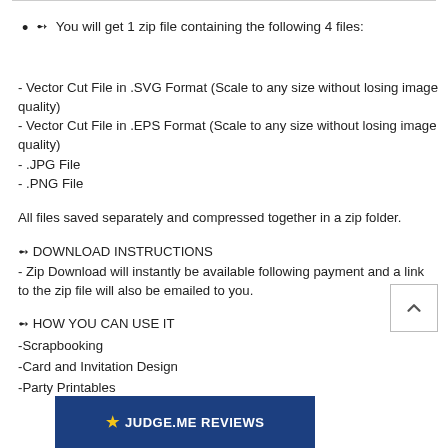➻ You will get 1 zip file containing the following 4 files:
- Vector Cut File in .SVG Format (Scale to any size without losing image quality)
- Vector Cut File in .EPS Format (Scale to any size without losing image quality)
- .JPG File
- .PNG File
All files saved separately and compressed together in a zip folder.
➻ DOWNLOAD INSTRUCTIONS
- Zip Download will instantly be available following payment and a link to the zip file will also be emailed to you.
➻ HOW YOU CAN USE IT
-Scrapbooking
-Card and Invitation Design
-Party Printables